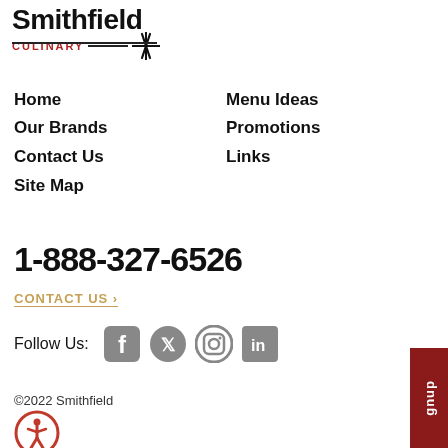[Figure (logo): Smithfield Culinary logo with brand name in bold black, 'CULINARY' in red uppercase letters, a horizontal line and crossed utensils icon]
Home
Menu Ideas
Our Brands
Promotions
Contact Us
Links
Site Map
1-888-327-6526
CONTACT US ›
Follow Us:
[Figure (infographic): Social media icons for Facebook, Twitter, Instagram, LinkedIn in grey]
©2022 Smithfield
[Figure (other): Accessibility icon - circular button with person symbol]
[Figure (other): Dark red vertical tab on right side with text 'gnup']